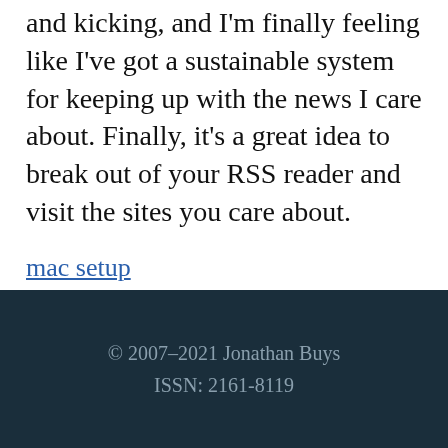and kicking, and I'm finally feeling like I've got a sustainable system for keeping up with the news I care about. Finally, it's a great idea to break out of your RSS reader and visit the sites you care about.
mac setup
© 2007–2021 Jonathan Buys
ISSN: 2161-8119